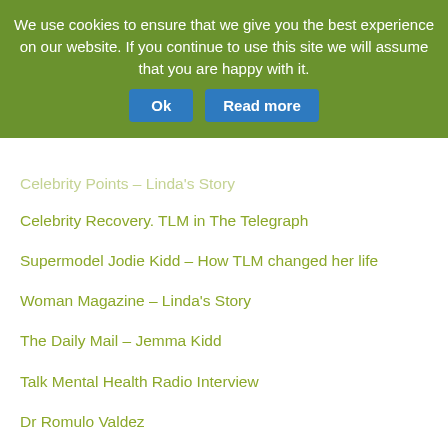We use cookies to ensure that we give you the best experience on our website. If you continue to use this site we will assume that you are happy with it.
Celebrity Points – Linda's Story
Celebrity Recovery. TLM in The Telegraph
Supermodel Jodie Kidd – How TLM changed her life
Woman Magazine – Linda's Story
The Daily Mail – Jemma Kidd
Talk Mental Health Radio Interview
Dr Romulo Valdez
Jenny Saunders BSc, MSc Psych
More comments from practitioners
Newspapers & Magazines